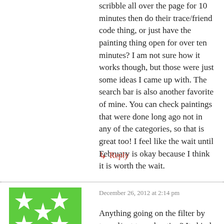scribble all over the page for 10 minutes then do their trace/friend code thing, or just have the painting thing open for over ten minutes? I am not sure how it works though, but those were just some ideas I came up with. The search bar is also another favorite of mine. You can check paintings that were done long ago not in any of the categories, so that is great too! I feel like the wait until February is okay because I think it is worth the wait.
↳ Reply
December 26, 2012 at 2:14 pm
[Figure (illustration): Green avatar with white star/geometric pattern, username saaytin below]
saaytin
Anything going on the filter by traced/not traced option? Its kind of a pet peev of